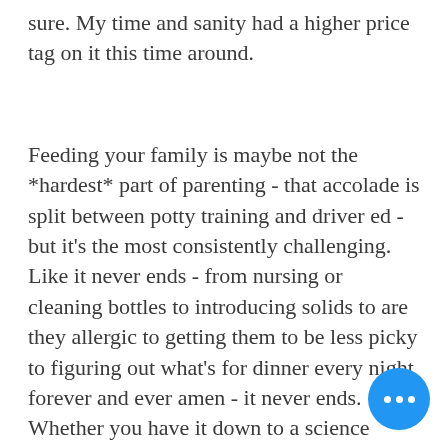sure. My time and sanity had a higher price tag on it this time around.
Feeding your family is maybe not the *hardest* part of parenting - that accolade is split between potty training and driver ed - but it's the most consistently challenging. Like it never ends - from nursing or cleaning bottles to introducing solids to are they allergic to getting them to be less picky to figuring out what's for dinner every night forever and ever amen - it never ends. Whether you have it down to a science (meatless Monday, Taco Tuesday, etc. forever) or you just wing it day after day, agony.